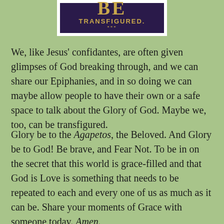[Figure (other): Partial book cover showing gold letters 'BE' and the word 'TRANSFIGURED.' with three asterisks on a dark purple background, framed with a white border.]
We, like Jesus' confidantes, are often given glimpses of God breaking through, and we can share our Epiphanies, and in so doing we can maybe allow people to have their own or a safe space to talk about the Glory of God. Maybe we, too, can be transfigured.
Glory be to the Agapetos, the Beloved. And Glory be to God! Be brave, and Fear Not. To be in on the secret that this world is grace-filled and that God is Love is something that needs to be repeated to each and every one of us as much as it can be. Share your moments of Grace with someone today. Amen.